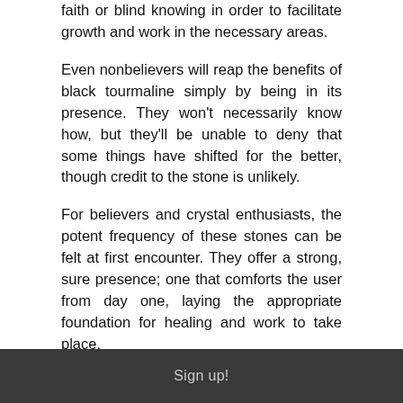faith or blind knowing in order to facilitate growth and work in the necessary areas.
Even nonbelievers will reap the benefits of black tourmaline simply by being in its presence. They won't necessarily know how, but they'll be unable to deny that some things have shifted for the better, though credit to the stone is unlikely.
For believers and crystal enthusiasts, the potent frequency of these stones can be felt at first encounter. They offer a strong, sure presence; one that comforts the user from day one, laying the appropriate foundation for healing and work to take place.
How to Use Black Tourmaline for Protection?
When it comes to protection, black tourmaline works
Sign up!